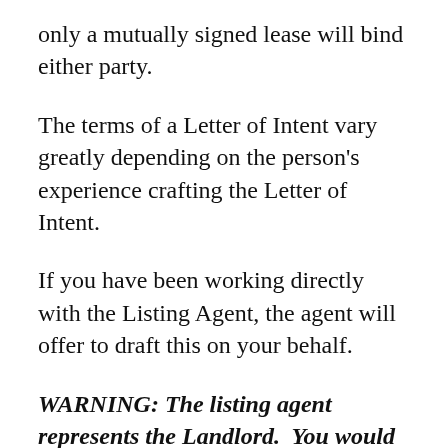only a mutually signed lease will bind either party.
The terms of a Letter of Intent vary greatly depending on the person's experience crafting the Letter of Intent.
If you have been working directly with the Listing Agent, the agent will offer to draft this on your behalf.
WARNING: The listing agent represents the Landlord.  You would be well advised to utilize a restaurant real estate